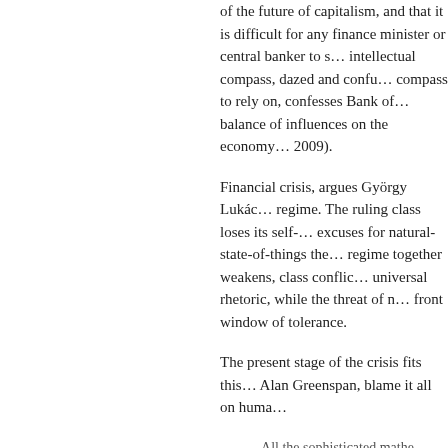of the future of capitalism, and that it is difficult for any finance minister or central banker to steer without a reliable intellectual compass, dazed and confused, without a reliable compass to rely on, confesses Bank of England that the balance of influences on the economy has changed. (King, 2009).
Financial crisis, argues György Lukács, destabilises the regime. The ruling class loses its self-confidence, its excuses for natural-state-of-things theory, the glue holds the regime together weakens, class conflict shames its universal rhetoric, while the threat of revolt widens the front window of tolerance.
The present stage of the crisis fits this pattern. Even Alan Greenspan, blame it all on huma...
All the sophisticated mathe... essentially rested on one ce... interest of owners and mana... lead them to maintain a suff... actively monitoring their fir...